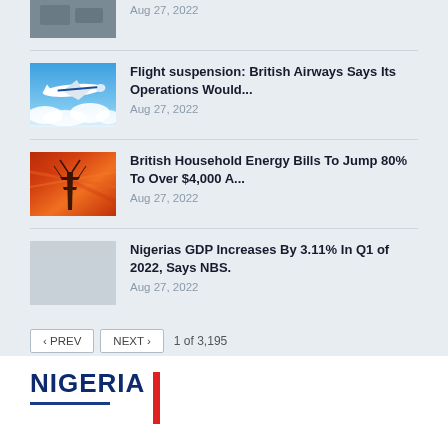[Figure (photo): Partial top image, cropped aerial or travel photo]
Aug 27, 2022
[Figure (photo): British Airways airplane flying above clouds]
Flight suspension: British Airways Says Its Operations Would...
Aug 27, 2022
[Figure (photo): Electric pylon against orange/red sky background]
British Household Energy Bills To Jump 80% To Over $4,000 A...
Aug 27, 2022
[Figure (photo): Placeholder grey image]
Nigerias GDP Increases By 3.11% In Q1 of 2022, Says NBS.
Aug 27, 2022
< PREV  NEXT >  1 of 3,195
NIGERIA